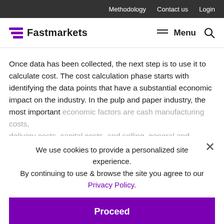Methodology   Contact us   Login
Fastmarkets   Menu
Once data has been collected, the next step is to use it to calculate cost. The cost calculation phase starts with identifying the data points that have a substantial economic impact on the industry. In the pulp and paper industry, the most important economic factors are cash manufacturing costs, delivery costs, capital costs, and selling, general and administrative (SG&A). Cost competitiveness is evaluated by either … these costs separately and … to determine the total cost of specific mills and machines.
We use cookies to provide a personalized site experience.
By continuing to use & browse the site you agree to our Privacy Policy.
Proceed